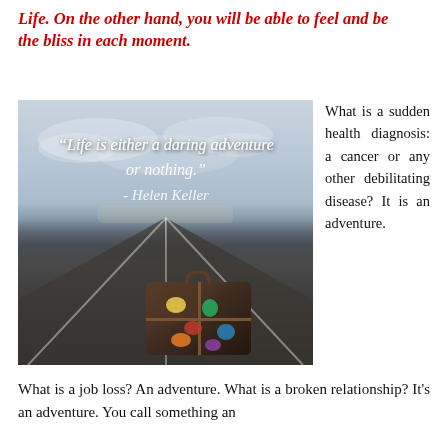Life. On the other hand, you will be able to feel and be the bliss in each moment.
[Figure (photo): Photo of an open road stretching to the horizon with a vintage travel suitcase covered in stickers in the foreground. Overlaid italic quote: "Life is either a daring adventure or nothing." - Helen Keller]
What is a sudden health diagnosis: a cancer or any other debilitating disease? It is an adventure.
What is a job loss? An adventure. What is a broken relationship? It's an adventure. You call something an